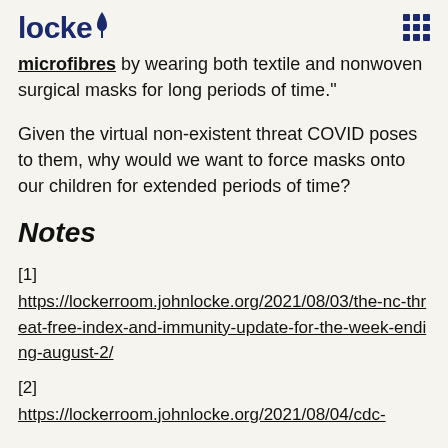locke
microfibres by wearing both textile and nonwoven surgical masks for long periods of time."
Given the virtual non-existent threat COVID poses to them, why would we want to force masks onto our children for extended periods of time?
Notes
[1] https://lockerroom.johnlocke.org/2021/08/03/the-nc-threat-free-index-and-immunity-update-for-the-week-ending-august-2/
[2] https://lockerroom.johnlocke.org/2021/08/04/cdc-